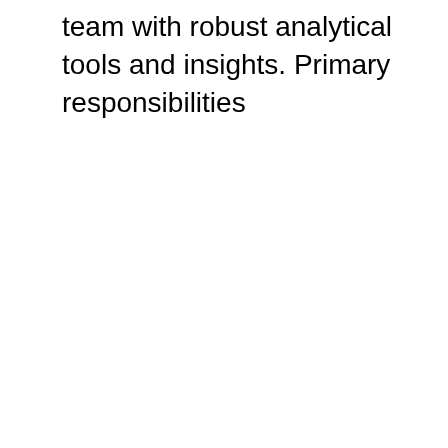team with robust analytical tools and insights. Primary responsibilities